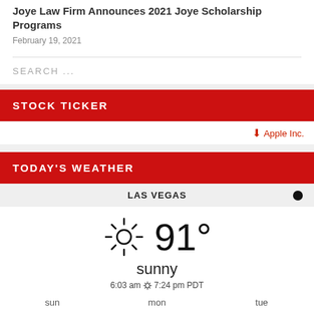Joye Law Firm Announces 2021 Joye Scholarship Programs
February 19, 2021
SEARCH ...
STOCK TICKER
↓ Apple Inc.
TODAY'S WEATHER
LAS VEGAS
[Figure (infographic): Weather widget showing sunny, 91°, 6:03 am sunrise 7:24 pm sunset PDT, Las Vegas. Bottom shows forecast days: sun, mon, tue.]
sun   mon   tue